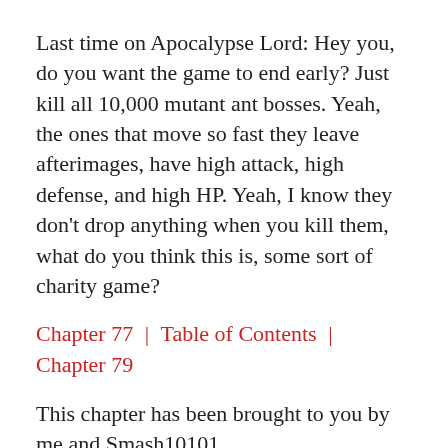Last time on Apocalypse Lord: Hey you, do you want the game to end early? Just kill all 10,000 mutant ant bosses. Yeah, the ones that move so fast they leave afterimages, have high attack, high defense, and high HP. Yeah, I know they don't drop anything when you kill them, what do you think this is, some sort of charity game?
Chapter 77 | Table of Contents | Chapter 79
This chapter has been brought to you by me and Smash10101.
Continue reading →